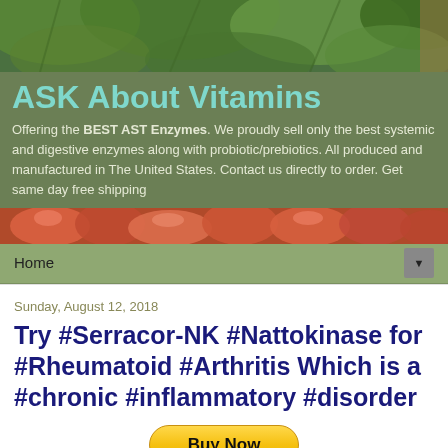[Figure (photo): Green leafy plant background photo banner at top of page]
ASK About Vitamins
Offering the BEST AST Enzymes. We proudly sell only the best systemic and digestive enzymes along with probiotic/prebiotics. All produced and manufactured in The United States. Contact us directly to order. Get same day free shipping
[Figure (photo): Red fruits/apples photo banner]
Home
Sunday, August 12, 2018
Try #Serracor-NK #Nattokinase for #Rheumatoid #Arthritis Which is a #chronic #inflammatory #disorder
[Figure (other): PayPal Buy Now button with payment card icons (VISA, Mastercard, Maestro, American Express, Discover, UnionPay)]